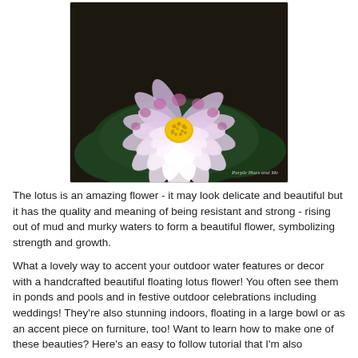[Figure (illustration): A painted illustration of a pink and white lotus flower with a yellow center, resting on dark green lily pads against a dark background. Watermark reads 'Purple Hues and Me' in bottom right corner.]
The lotus is an amazing flower - it may look delicate and beautiful but it has the quality and meaning of being resistant and strong - rising out of mud and murky waters to form a beautiful flower, symbolizing strength and growth.
What a lovely way to accent your outdoor water features or decor with a handcrafted beautiful floating lotus flower! You often see them in ponds and pools and in festive outdoor celebrations including weddings! They're also stunning indoors, floating in a large bowl or as an accent piece on furniture, too! Want to learn how to make one of these beauties? Here's an easy to follow tutorial that I'm also